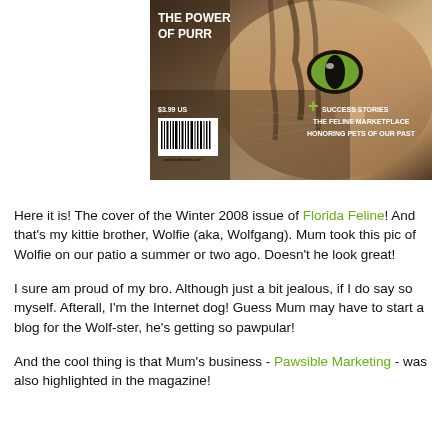[Figure (photo): Magazine cover of Florida Feline Winter 2008 issue showing a close-up photo of a tabby cat (Wolfie). The cover reads 'THE POWER OF PURR' in the top left, has a barcode with $3.99 US price, website www.floridafeline.com, and sidebar text listing: SUCCESS STORIES, THE FELINE MARKETPLACE, HONORING PETS OF OUR PAST]
Here it is! The cover of the Winter 2008 issue of Florida Feline! And that's my kittie brother, Wolfie (aka, Wolfgang). Mum took this pic of Wolfie on our patio a summer or two ago. Doesn't he look great!
I sure am proud of my bro. Although just a bit jealous, if I do say so myself. Afterall, I'm the Internet dog! Guess Mum may have to start a blog for the Wolf-ster, he's getting so pawpular!
And the cool thing is that Mum's business - Pawsible Marketing - was also highlighted in the magazine!